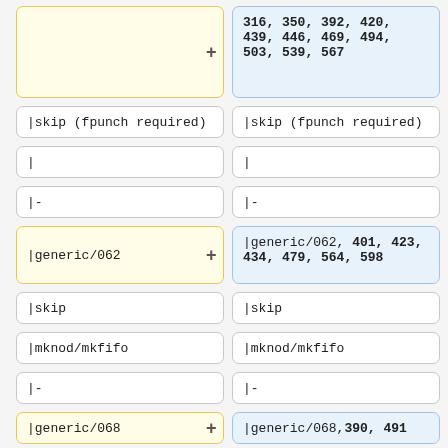(top left cell - continuation, yellow border, tall)
316, 350, 392, 420, 439, 446, 469, 494, 503, 539, 567
|skip (fpunch required)
|skip (fpunch required)
|
|
|-
|-
|generic/062
|generic/062, 401, 423, 434, 479, 564, 598
|skip
|skip
|mknod/mkfifo
|mknod/mkfifo
|-
|-
|generic/068
|generic/068, 390, 491
|skip (freezing)
|skip (freezing)
|
|